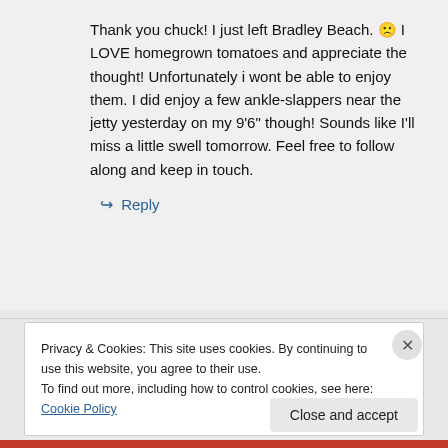Thank you chuck! I just left Bradley Beach. 🙁 I LOVE homegrown tomatoes and appreciate the thought! Unfortunately i wont be able to enjoy them. I did enjoy a few ankle-slappers near the jetty yesterday on my 9'6" though! Sounds like I'll miss a little swell tomorrow. Feel free to follow along and keep in touch.
↪ Reply
Privacy & Cookies: This site uses cookies. By continuing to use this website, you agree to their use. To find out more, including how to control cookies, see here: Cookie Policy
Close and accept